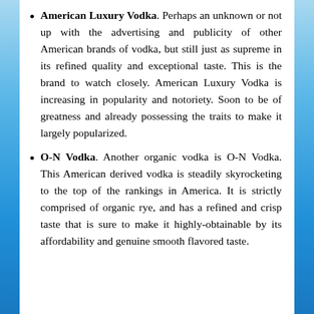American Luxury Vodka. Perhaps an unknown or not up with the advertising and publicity of other American brands of vodka, but still just as supreme in its refined quality and exceptional taste. This is the brand to watch closely. American Luxury Vodka is increasing in popularity and notoriety. Soon to be of greatness and already possessing the traits to make it largely popularized.
O-N Vodka. Another organic vodka is O-N Vodka. This American derived vodka is steadily skyrocketing to the top of the rankings in America. It is strictly comprised of organic rye, and has a refined and crisp taste that is sure to make it highly-obtainable by its affordability and genuine smooth flavored taste.